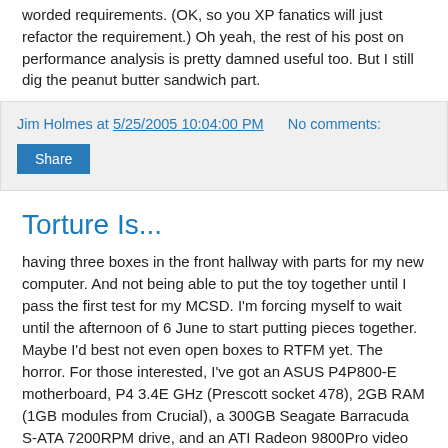worded requirements. (OK, so you XP fanatics will just refactor the requirement.) Oh yeah, the rest of his post on performance analysis is pretty damned useful too. But I still dig the peanut butter sandwich part.
Jim Holmes at 5/25/2005 10:04:00 PM   No comments:
Share
Torture Is...
having three boxes in the front hallway with parts for my new computer. And not being able to put the toy together until I pass the first test for my MCSD. I'm forcing myself to wait until the afternoon of 6 June to start putting pieces together. Maybe I'd best not even open boxes to RTFM yet. The horror. For those interested, I've got an ASUS P4P800-E motherboard, P4 3.4E GHz (Prescott socket 478), 2GB RAM (1GB modules from Crucial), a 300GB Seagate Barracuda S-ATA 7200RPM drive, and an ATI Radeon 9800Pro video card. All that's going in an Antec Solution 1650 minitower